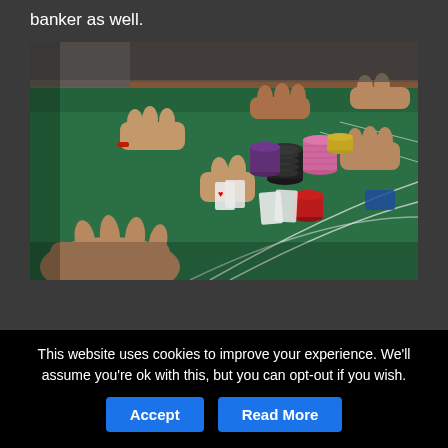banker as well.
[Figure (photo): People playing at a casino baccarat/card table with green felt, multiple hands visible, poker chips stacked in the center including red, black, purple, and pink chips, cards on the table, overhead view slightly angled.]
This website uses cookies to improve your experience. We'll assume you're ok with this, but you can opt-out if you wish.
Accept
Read More